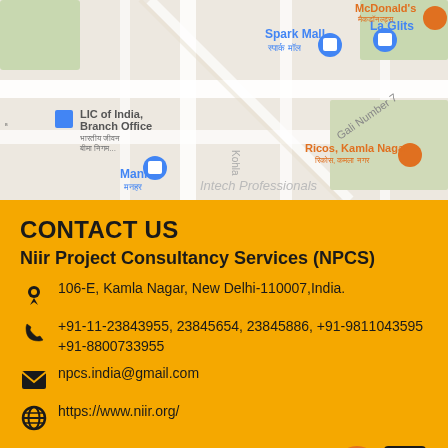[Figure (map): Google Maps screenshot showing Kamla Nagar area in New Delhi with markers for LIC of India Branch Office, Spark Mall, La Glits, McDonald's, Ricos Kamla Nagar, Manhar, and Intech Professionals]
CONTACT US
Niir Project Consultancy Services (NPCS)
106-E, Kamla Nagar, New Delhi-110007,India.
+91-11-23843955, 23845654, 23845886, +91-9811043595 +91-8800733955
npcs.india@gmail.com
https://www.niir.org/
PRODUCTS & SERVICES    MY ACCOUNT